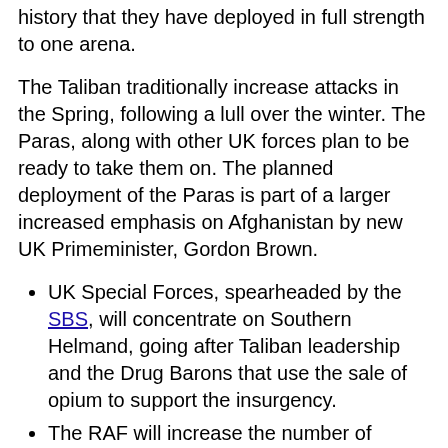history that they have deployed in full strength to one arena.
The Taliban traditionally increase attacks in the Spring, following a lull over the winter. The Paras, along with other UK forces plan to be ready to take them on. The planned deployment of the Paras is part of a larger increased emphasis on Afghanistan by new UK Primeminister, Gordon Brown.
UK Special Forces, spearheaded by the SBS, will concentrate on Southern Helmand, going after Taliban leadership and the Drug Barons that use the sale of opium to support the insurgency.
The RAF will increase the number of attack aircraft in the region, complementing Harriers already deployed with Tornados and Typhoons.
Britain is examining letting Private Military Contractors assist UK forces with various tasks such as base security escorting convoys and VIP protection.